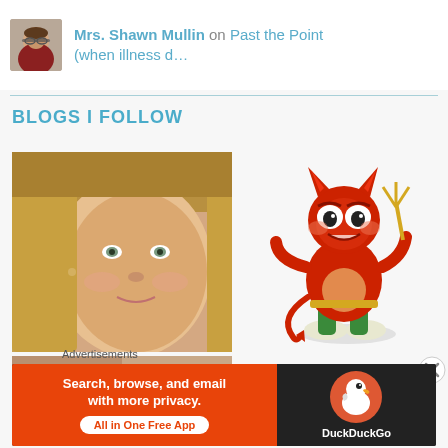Mrs. Shawn Mullin on Past the Point (when illness d…
BLOGS I FOLLOW
[Figure (photo): Close-up selfie photo of a woman with blonde hair and light eyes]
[Figure (illustration): Cartoon red devil character holding a golden trident, wearing green shoes]
[Figure (photo): Partial bottom strip of another blog thumbnail photo]
Advertisements
[Figure (infographic): DuckDuckGo advertisement banner: 'Search, browse, and email with more privacy. All in One Free App' with DuckDuckGo duck logo on dark background]